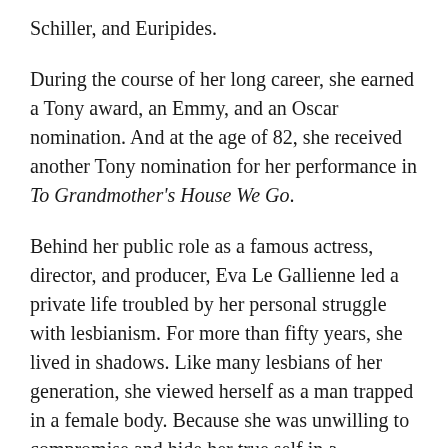Schiller, and Euripides.
During the course of her long career, she earned a Tony award, an Emmy, and an Oscar nomination. And at the age of 82, she received another Tony nomination for her performance in To Grandmother's House We Go.
Behind her public role as a famous actress, director, and producer, Eva Le Gallienne led a private life troubled by her personal struggle with lesbianism. For more than fifty years, she lived in shadows. Like many lesbians of her generation, she viewed herself as a man trapped in a female body. Because she was unwilling to compromise and hide her true self in a convenient marriage or to camouflage her relationships in order to boost her career, her sexuality became a nemesis that defined her great need for privacy.